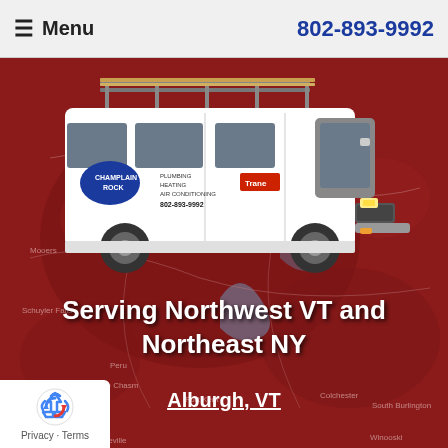≡ Menu   802-893-9992
[Figure (photo): White service van with ladder rack on roof, branded with company logo (Champlain Rock), Trane logo, and text: PLUMBING, HEATING, AIR CONDITIONING, 802-893-9992. Van is parked in front of a red-tinted map background of northwest Vermont and northeast New York.]
Serving Northwest VT and Northeast NY
Alburgh, VT
Privacy · Terms